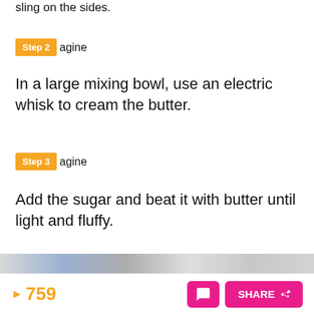sling on the sides.
Step 2 agine
In a large mixing bowl, use an electric whisk to cream the butter.
Step 3 agine
Add the sugar and beat it with butter until light and fluffy.
[Figure (photo): Partial image strip visible at bottom of content area]
► 759  SHARE